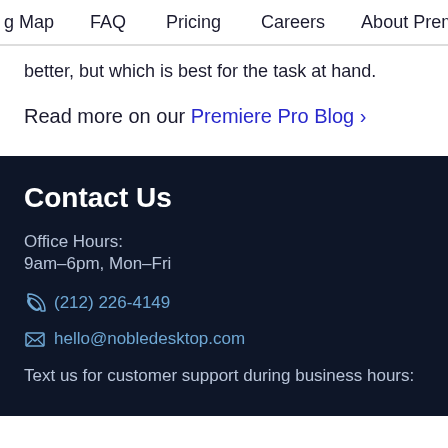g Map   FAQ   Pricing   Careers   About Premiere Pro
better, but which is best for the task at hand.
Read more on our Premiere Pro Blog >
Contact Us
Office Hours:
9am–6pm, Mon–Fri
(212) 226-4149
hello@nobledesktop.com
Text us for customer support during business hours: